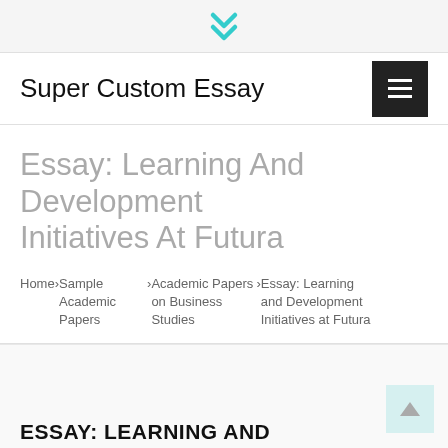Super Custom Essay
Essay: Learning And Development Initiatives At Futura
Home › Sample Academic Papers › Academic Papers on Business Studies › Essay: Learning and Development Initiatives at Futura
ESSAY: LEARNING AND DEVELOPMENT INITIATIVES